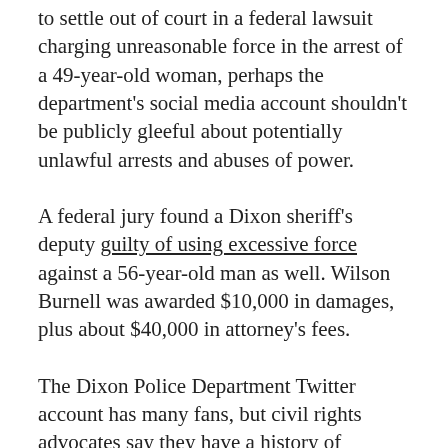to settle out of court in a federal lawsuit charging unreasonable force in the arrest of a 49-year-old woman, perhaps the department's social media account shouldn't be publicly gleeful about potentially unlawful arrests and abuses of power.
A federal jury found a Dixon sheriff's deputy guilty of using excessive force against a 56-year-old man as well. Wilson Burnell was awarded $10,000 in damages, plus about $40,000 in attorney's fees.
The Dixon Police Department Twitter account has many fans, but civil rights advocates say they have a history of questionable attempts at humor, like this “Release the hounds” tweet: